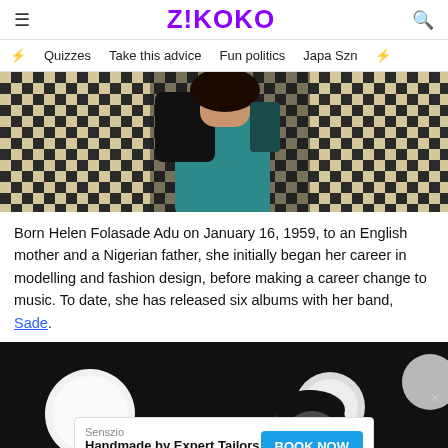Z!KOKO
Quizzes   Take this advice   Fun politics   Japa Szn
[Figure (photo): A woman in a teal/blue outfit posing against a checkered black and beige pattern background.]
Born Helen Folasade Adu on January 16, 1959, to an English mother and a Nigerian father, she initially began her career in modelling and fashion design, before making a career change to music. To date, she has released six albums with her band, Sade.
[Figure (photo): Black and white performance photo of a person with short dark hair under bright stage lights. An advertisement overlay reads: Senszio / Handmade by Expert Tailors / BOOK NOW]